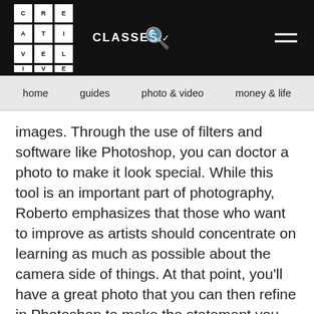CREATIVE LIVE | CLASSES | Search | Menu
home  guides  photo & video  money & life
images. Through the use of filters and software like Photoshop, you can doctor a photo to make it look special. While this tool is an important part of photography, Roberto emphasizes that those who want to improve as artists should concentrate on learning as much as possible about the camera side of things. At that point, you'll have a great photo that you can then refine in Photoshop to make the statement you want.
Knowing the Lighting